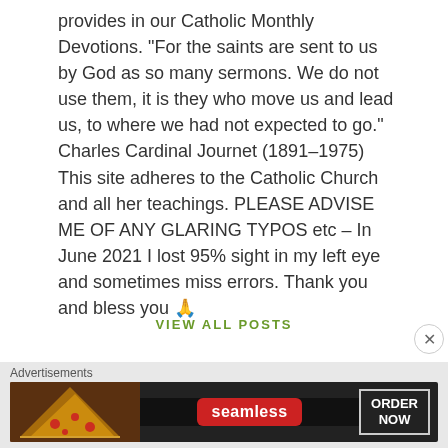provides in our Catholic Monthly Devotions. "For the saints are sent to us by God as so many sermons. We do not use them, it is they who move us and lead us, to where we had not expected to go." Charles Cardinal Journet (1891–1975) This site adheres to the Catholic Church and all her teachings. PLEASE ADVISE ME OF ANY GLARING TYPOS etc – In June 2021 I lost 95% sight in my left eye and sometimes miss errors. Thank you and bless you 🙏
VIEW ALL POSTS
Advertisements
[Figure (photo): Seamless food delivery advertisement banner showing pizza slices on the left, Seamless red logo badge in the center, and ORDER NOW button on the right against a dark background]